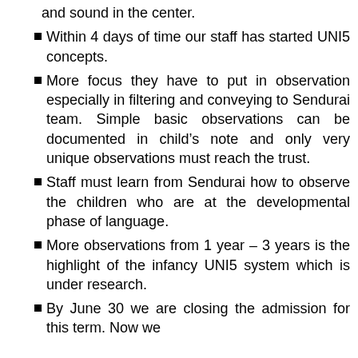and sound in the center.
Within 4 days of time our staff has started UNI5 concepts.
More focus they have to put in observation especially in filtering and conveying to Sendurai team. Simple basic observations can be documented in child’s note and only very unique observations must reach the trust.
Staff must learn from Sendurai how to observe the children who are at the developmental phase of language.
More observations from 1 year – 3 years is the highlight of the infancy UNI5 system which is under research.
By June 30 we are closing the admission for this term. Now we